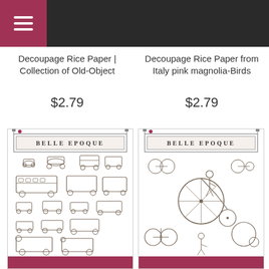Navigation menu
Decoupage Rice Paper | Collection of Old-Object
$2.79
Decoupage Rice Paper from Italy pink magnolia-Birds
$2.79
[Figure (illustration): Decoupage rice paper sheet with Belle Epoque label showing vintage old automobiles and vehicles in sepia/brown tones on white background]
[Figure (illustration): Decoupage rice paper sheet with Belle Epoque label showing vintage bicycles and penny-farthings with riders in sepia/brown tones on white background]